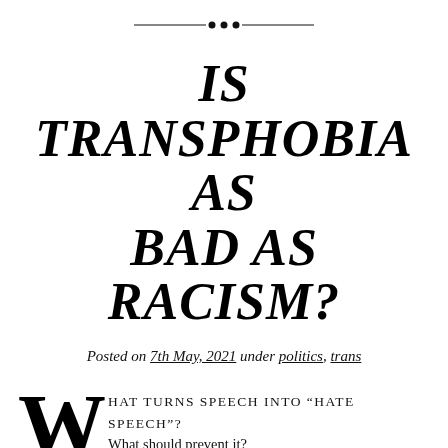[Figure (other): Decorative horizontal ornament divider with diamond shapes in the center]
IS TRANSPHOBIA AS BAD AS RACISM?
Posted on 7th May, 2021 under politics, trans
What turns speech into "hate speech"? What should prevent it?
Ruth Smeeth wrote in the Times that an employment tribunal case had placed anti-trans